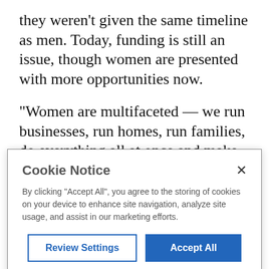they weren't given the same timeline as men. Today, funding is still an issue, though women are presented with more opportunities now.
“Women are multifaceted — we run businesses, run homes, run families, do everything all at once and make it look good, no matter how stressed we are,” said Kisha Moys, president and CEO of Just
Cookie Notice
By clicking “Accept All”, you agree to the storing of cookies on your device to enhance site navigation, analyze site usage, and assist in our marketing efforts.
Review Settings
Accept All